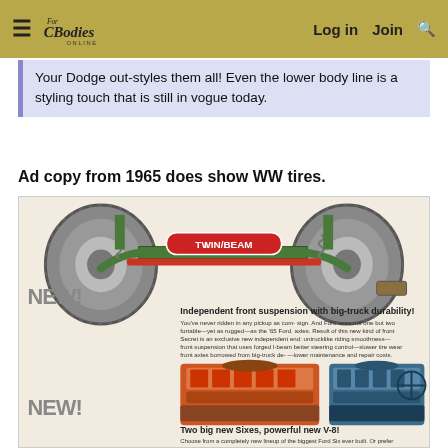For C-Bodies Only | Log in | Join | Search
Your Dodge out-styles them all! Even the lower body line is a styling touch that is still in vogue today.
Ad copy from 1965 does show WW tires.
[Figure (illustration): 1965 Ford pickup truck advertisement showing Twin I-Beam independent front suspension diagram with NEW! text, two engine illustrations (240 cubic inch Six and 300 cubic inch Big Six, plus 352 cubic inch V-8), and NEW! text. Ad copy reads: Independent front suspension with big-truck durability! Two big new Sixes, powerful new V-8!]